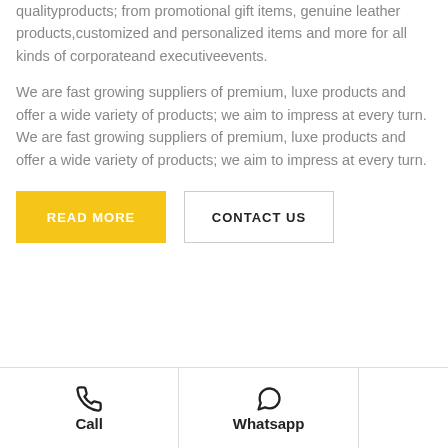qualityproducts; from promotional gift items, genuine leather products,customized and personalized items and more for all kinds of corporateand executiveevents.
We are fast growing suppliers of premium, luxe products and offer a wide variety of products; we aim to impress at every turn. We are fast growing suppliers of premium, luxe products and offer a wide variety of products; we aim to impress at every turn.
READ MORE
CONTACT US
Call | Whatsapp